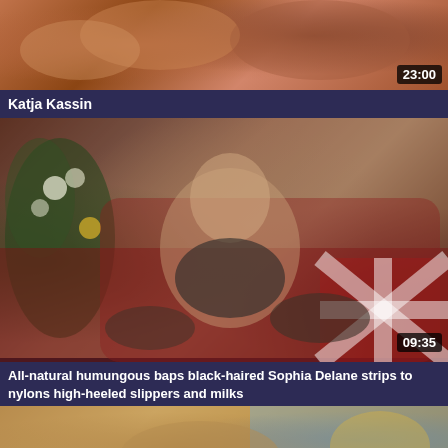[Figure (photo): Video thumbnail showing adult content - top card, blurred/warm toned image]
Katja Kassin
[Figure (photo): Video thumbnail showing woman on red leather sofa in dark outfit with stockings, flowers visible in background]
All-natural humungous baps black-haired Sophia Delane strips to nylons high-heeled slippers and milks
[Figure (photo): Video thumbnail showing adult content - bottom card, partial view]